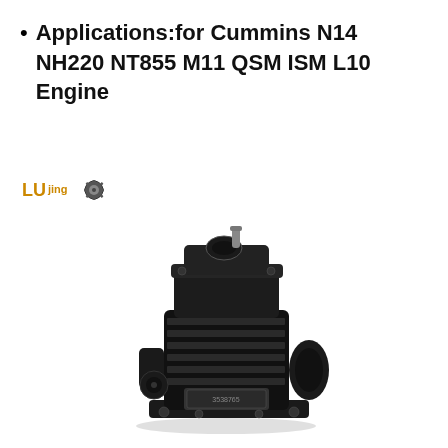Applications:for Cummins N14 NH220 NT855 M11 QSM ISM L10 Engine
[Figure (logo): LUjing brand logo with orange stylized text and gear icon]
[Figure (photo): Black heavy-duty air compressor component for Cummins engine, showing ribbed cylinder body, mounting flanges, and a label plate on the front]